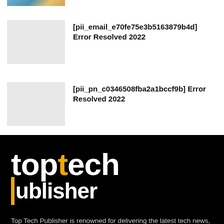[Figure (photo): Thumbnail image (partial, colorful) at top of page]
[pii_email_e70fe75e3b5163879b4d] Error Resolved 2022
[Figure (photo): Gray placeholder thumbnail for second article]
[pii_pn_c0346508fba2a1bccf9b] Error Resolved 2022
[Figure (logo): Top Tech Publisher logo — 'top' in white and gold, 'tech' in white, 'publisher' in white with gold vertical bar, on black background]
Top Tech Publisher is renowned for delivering the latest tech news, analysis & helpful information for IT professionals & e-business
• Email: toptechpublisher@gmail.com